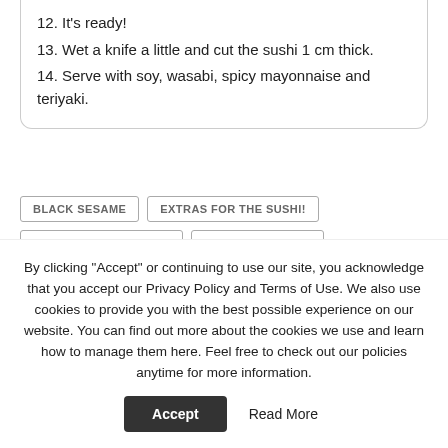12. It's ready!
13. Wet a knife a little and cut the sushi 1 cm thick.
14. Serve with soy, wasabi, spicy mayonnaise and teriyaki.
BLACK SESAME | EXTRAS FOR THE SUSHI! | GLUTEN FREE RECIPES | INSIDE OUT SUSHI | KOSHER SUSHI | KOSHER SUSHI RECIPES | SEAWEED | SESAME | SUSHI RECIPES | SUSHI RICE
By clicking "Accept" or continuing to use our site, you acknowledge that you accept our Privacy Policy and Terms of Use. We also use cookies to provide you with the best possible experience on our website. You can find out more about the cookies we use and learn how to manage them here. Feel free to check out our policies anytime for more information.